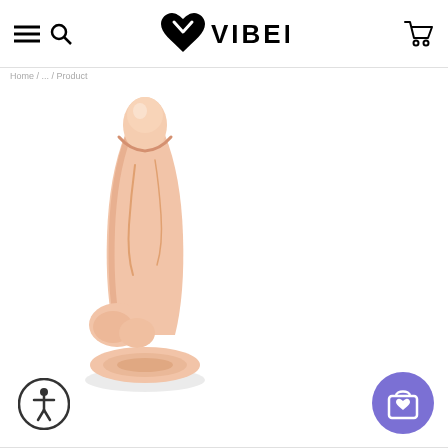VIBED
breadcrumb navigation
[Figure (photo): A realistic skin-toned dildo with suction cup base, photographed on a white background. The product is a flesh-colored sex toy with anatomical details, featuring a suction cup at the base for stability.]
[Figure (other): Circular accessibility icon button (dark outline circle with person/wheelchair symbol) in bottom-left corner]
[Figure (other): Purple circular shopping bag with heart icon button in bottom-right corner]